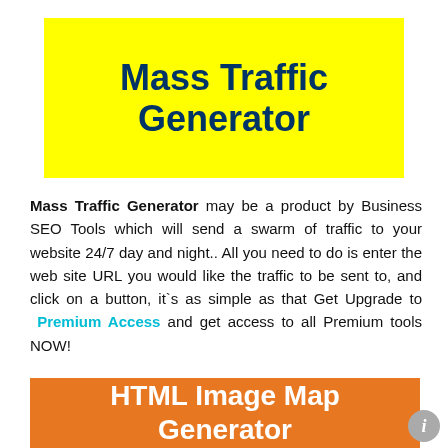Mass Traffic Generator
Mass Traffic Generator may be a product by Business SEO Tools which will send a swarm of traffic to your website 24/7 day and night.. All you need to do is enter the web site URL you would like the traffic to be sent to, and click on a button, it`s as simple as that Get Upgrade to Premium Access and get access to all Premium tools NOW!
HTML Image Map Generator